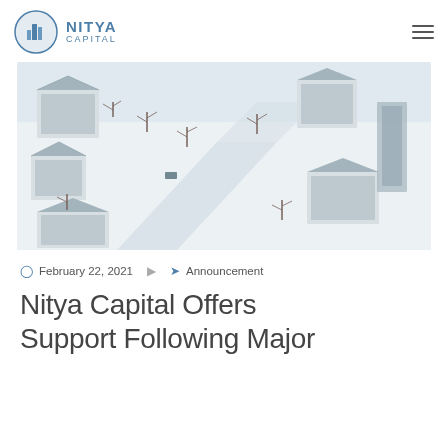NITYA CAPITAL
[Figure (photo): Aerial drone view of snow-covered residential buildings and trees in winter. White snow blankets rooftops, roads, and bare trees viewed from above.]
February 22, 2021  Announcement
Nitya Capital Offers Support Following Major